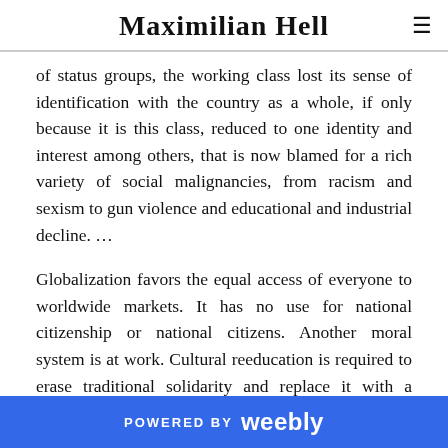Maximilian Hell
of status groups, the working class lost its sense of identification with the country as a whole, if only because it is this class, reduced to one identity and interest among others, that is now blamed for a rich variety of social malignancies, from racism and sexism to gun violence and educational and industrial decline. …
Globalization favors the equal access of everyone to worldwide markets. It has no use for national citizenship or national citizens. Another moral system is at work. Cultural reeducation is required to erase traditional solidarity and replace it with a morality of equal access and equal opportunity
POWERED BY weebly